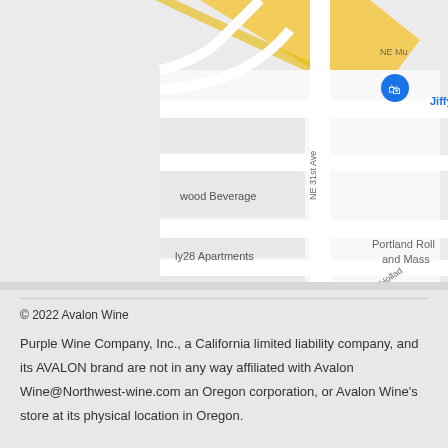[Figure (map): Google Maps screenshot showing street map of Portland, Oregon area near NE 31st Ave and NE 33rd Ave with NE Holladay, showing Jiffy Lube, wood Beverage (Avalon Wine store marker), ly28 Apartments, Portland Roll and Mass labels, and a blue location pin marker.]
© 2022 Avalon Wine
Purple Wine Company, Inc., a California limited liability company, and its AVALON brand are not in any way affiliated with Avalon Wine@Northwest-wine.com an Oregon corporation, or Avalon Wine's store at its physical location in Oregon.